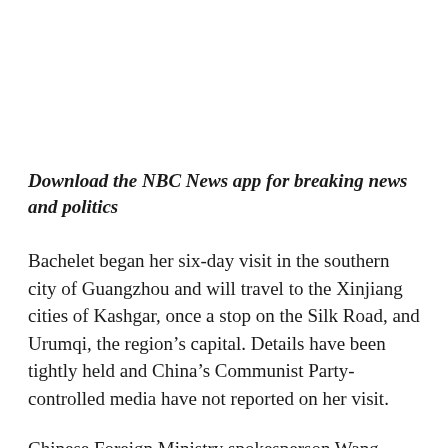Download the NBC News app for breaking news and politics
Bachelet began her six-day visit in the southern city of Guangzhou and will travel to the Xinjiang cities of Kashgar, once a stop on the Silk Road, and Urumqi, the region’s capital. Details have been tightly held and China’s Communist Party-controlled media have not reported on her visit.
Chinese Foreign Ministry spokesperson Wang